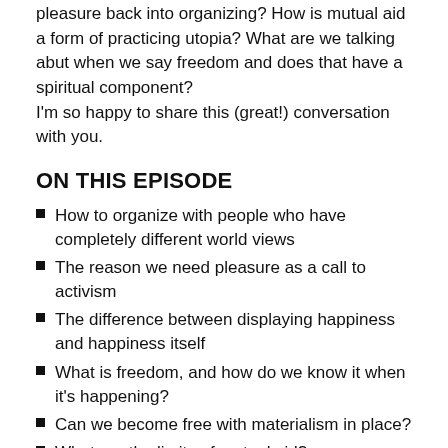pleasure back into organizing? How is mutual aid a form of practicing utopia? What are we talking abut when we say freedom and does that have a spiritual component? I'm so happy to share this (great!) conversation with you.
ON THIS EPISODE
How to organize with people who have completely different world views
The reason we need pleasure as a call to activism
The difference between displaying happiness and happiness itself
What is freedom, and how do we know it when it's happening?
Can we become free with materialism in place?
What are the limits of mutual aid?
How Democrats (*ahem* Kamala) exploit LGBT, black